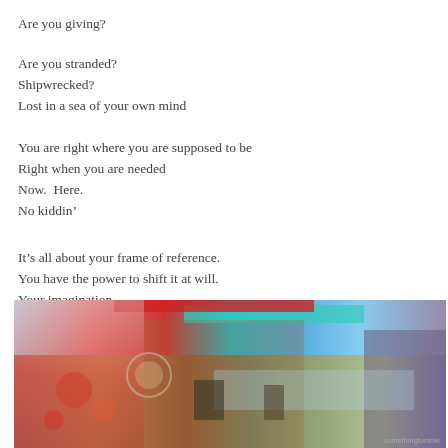Are you giving?
Are you stranded?
Shipwrecked?
Lost in a sea of your own mind
You are right where you are supposed to be
Right when you are needed
Now.  Here.
No kiddin’
It’s all about your frame of reference.
You have the power to shift it at will.
Your imagination
[Figure (illustration): Abstract colorful digital artwork showing a dreamlike landscape with vivid reds, blues, teals, and purples, featuring distorted scenery with water, cliffs, and surreal elements. Watermark reads 'somethingtumble' in bottom right.]